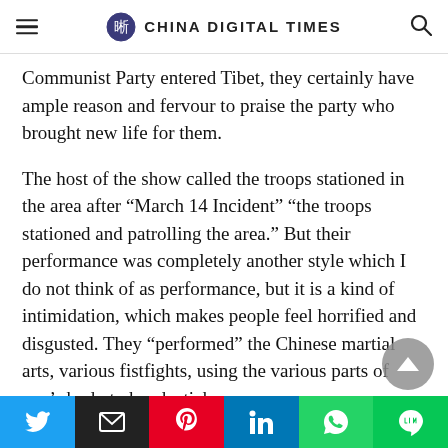CHINA DIGITAL TIMES
Communist Party entered Tibet, they certainly have ample reason and fervour to praise the party who brought new life for them.
The host of the show called the troops stationed in the area after “March 14 Incident” “the troops stationed and patrolling the area.” But their performance was completely another style which I do not think of as performance, but it is a kind of intimidation, which makes people feel horrified and disgusted. They “performed” the Chinese martial arts, various fistfights, using the various parts of one’s body to break sticks,
Twitter | Email | Pinterest | LinkedIn | WhatsApp | LINE